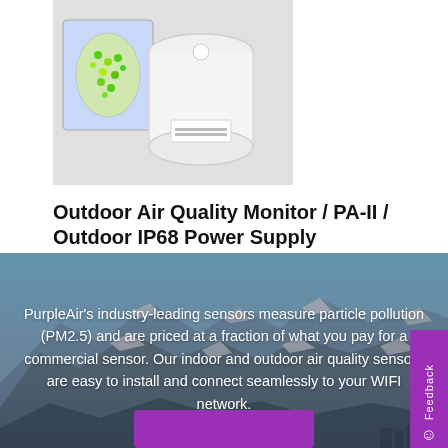[Figure (photo): Product image showing an outdoor air quality monitor (white cylindrical device) next to a map with green location markers on a light gray background]
Outdoor Air Quality Monitor / PA-II / Outdoor IP68 Power Supply
$259.00
[Figure (photo): Mountain landscape banner photo with snow-capped mountains and blue sky used as background for marketing text]
PurpleAir's industry-leading sensors measure particle pollution (PM2.5) and are priced at a fraction of what you pay for a commercial sensor. Our indoor and outdoor air quality sensors are easy to install and connect seamlessly to your WIFI network.